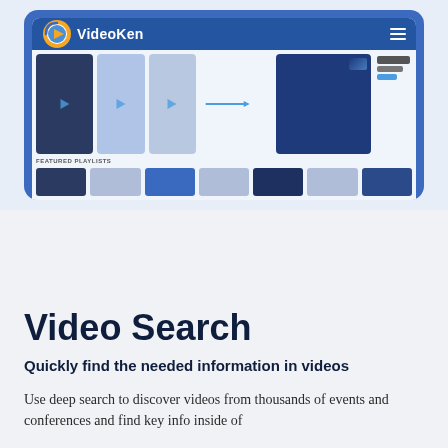[Figure (screenshot): VideoKen platform screenshot showing a video library interface with a blue browser frame. The VideoKen logo (circular orange/yellow play button icon) and white bold 'VideoKen' text appear in the top navigation bar along with a hamburger menu. The content area shows video thumbnails arranged in a grid with play arrows and a 'FEATURED PLAYLISTS' section.]
Video Search
Quickly find the needed information in videos
Use deep search to discover videos from thousands of events and conferences and find key info inside of